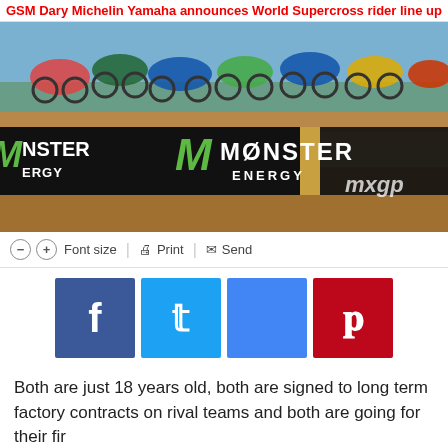GSM Dary Michelin Yamaha announces World Supercross rider line up
[Figure (photo): Motocross riders at start gate with Monster Energy MXGP branding banners]
⊖  ⊕  Font size  |  🖨  Print  |  ✉  Send
[Figure (infographic): Social media sharing buttons: Facebook, Twitter, Google+, Pinterest]
Both are just 18 years old, both are signed to long term factory contracts on rival teams and both are going for their fir...
[Figure (screenshot): BitLife advertisement banner with emoji characters and Real Choices tagline]